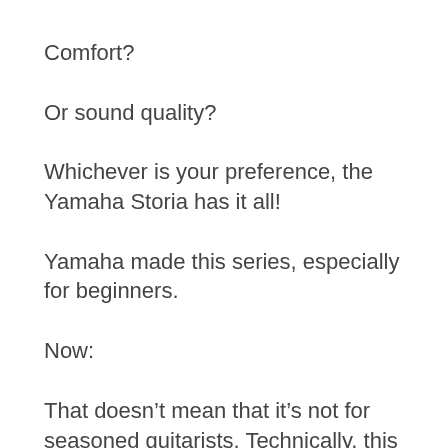Comfort?
Or sound quality?
Whichever is your preference, the Yamaha Storia has it all!
Yamaha made this series, especially for beginners.
Now:
That doesn't mean that it's not for seasoned guitarists. Technically, this is still an excellent guitar for everyone to enjoy.